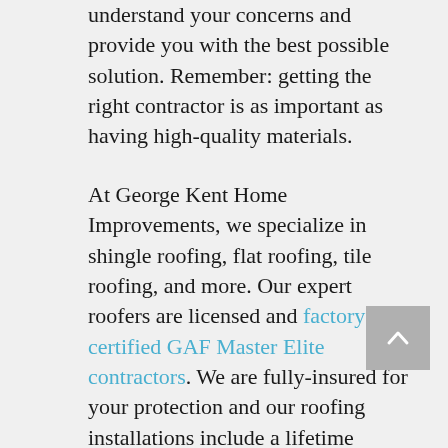understand your concerns and provide you with the best possible solution. Remember: getting the right contractor is as important as having high-quality materials.
At George Kent Home Improvements, we specialize in shingle roofing, flat roofing, tile roofing, and more. Our expert roofers are licensed and factory-certified GAF Master Elite contractors. We are fully-insured for your protection and our roofing installations include a lifetime warranty on both materials and labour.
Getting a complete roof system installation from George Kent means that your home's attic